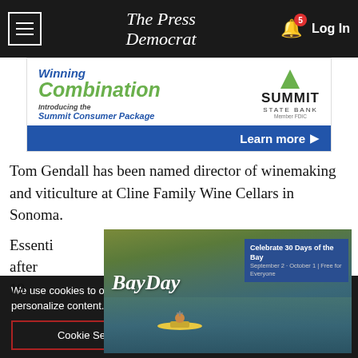The Press Democrat
[Figure (screenshot): Summit State Bank advertisement: Winning Combination, Introducing the Summit Consumer Package, Learn more button]
Tom Gendall has been named director of winemaking and viticulture at Cline Family Wine Cellars in Sonoma.
[Figure (photo): BayDay advertisement: Celebrate 30 Days of the Bay, September 2 - October 1, Free for Everyone, kayaker on water]
Essenti... tired after 19...
Tsegele...
We use cookies to optimize your experience, analyze traffic, and personalize content. To learn more, please visit our Privacy Policy.